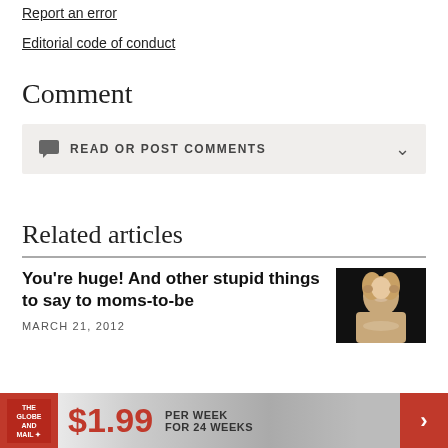Report an error
Editorial code of conduct
Comment
READ OR POST COMMENTS
Related articles
You're huge! And other stupid things to say to moms-to-be
MARCH 21, 2012
[Figure (photo): Blonde woman smiling, dark background]
[Figure (infographic): The Globe and Mail ad banner: $1.99 PER WEEK FOR 24 WEEKS]